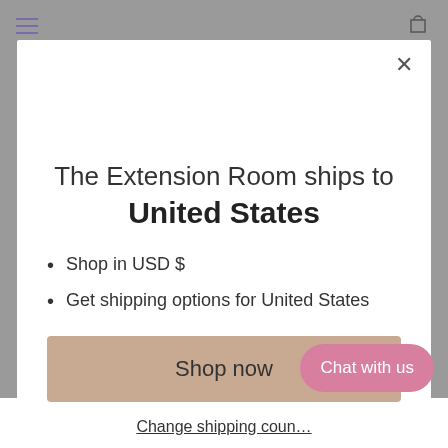[Figure (screenshot): Navigation bar with hamburger menu icon and shopping bag icon on gray background]
The Extension Room ships to United States
Shop in USD $
Get shipping options for United States
Shop now
Change shipping coun…
Chat with us
HOW TO REQUEST A RETURN OR EXCHANGE: